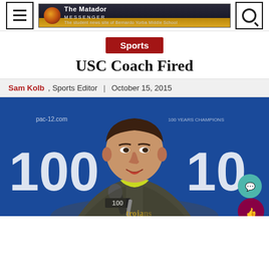The Matador Messenger – The student news site of Bernardo Yorba Middle School
Sports
USC Coach Fired
Sam Kolb, Sports Editor | October 15, 2015
[Figure (photo): USC football coach speaking at a press conference, seated at a table with a microphone labeled '100', with a blue backdrop showing '100' branding and pac-12.com logos]